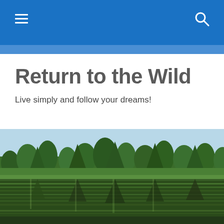Return to the Wild
Live simply and follow your dreams!
[Figure (photo): Landscape photo of a dense green forest of pine and deciduous trees reflected in a calm lake below a light blue sky.]